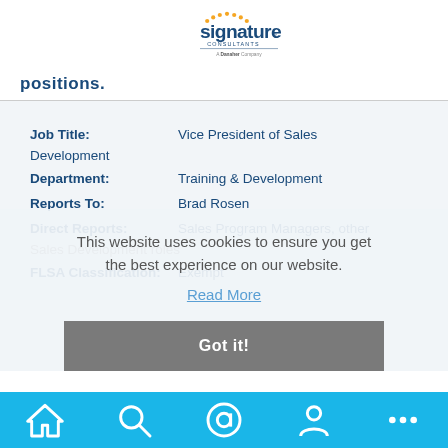[Figure (logo): Signature Consultants logo - a Danaher Company]
positions.
Job Title: Vice President of Sales Development
Department: Training & Development
Reports To: Brad Rosen
Direct Reports: Sales Program Managers, other Sales Development roles
FLSA Classification: Exempt
This website uses cookies to ensure you get the best experience on our website. Read More
Got it!